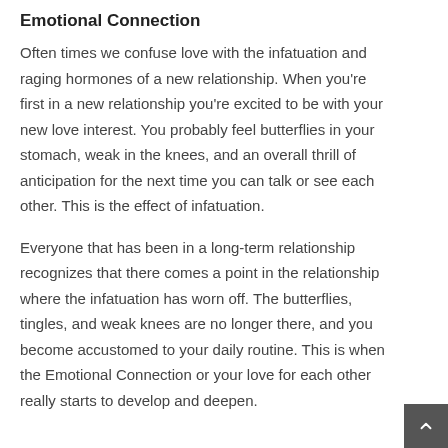Emotional Connection
Often times we confuse love with the infatuation and raging hormones of a new relationship. When you're first in a new relationship you're excited to be with your new love interest. You probably feel butterflies in your stomach, weak in the knees, and an overall thrill of anticipation for the next time you can talk or see each other. This is the effect of infatuation.
Everyone that has been in a long-term relationship recognizes that there comes a point in the relationship where the infatuation has worn off. The butterflies, tingles, and weak knees are no longer there, and you become accustomed to your daily routine. This is when the Emotional Connection or your love for each other really starts to develop and deepen.